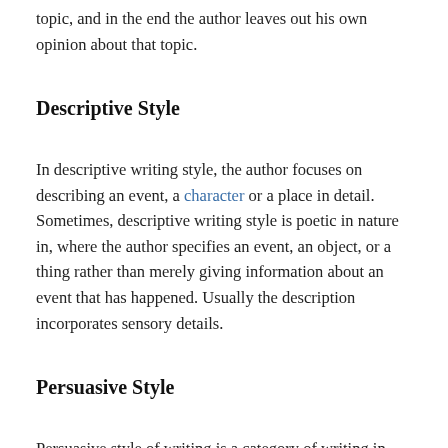topic, and in the end the author leaves out his own opinion about that topic.
Descriptive Style
In descriptive writing style, the author focuses on describing an event, a character or a place in detail. Sometimes, descriptive writing style is poetic in nature in, where the author specifies an event, an object, or a thing rather than merely giving information about an event that has happened. Usually the description incorporates sensory details.
Persuasive Style
Persuasive style of writing is a category of writing in which the writer tries to give reasons and